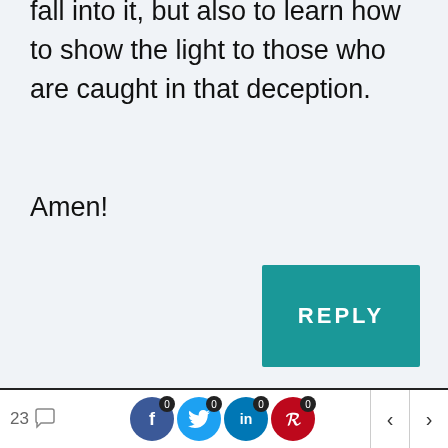fall into it, but also to learn how to show the light to those who are caught in that deception.
Amen!
BibleDude on December 15, 2007 at 10:03 am
Thanks! Stick around as I complete this series. I also plan to break down a few other
23  0  0  0